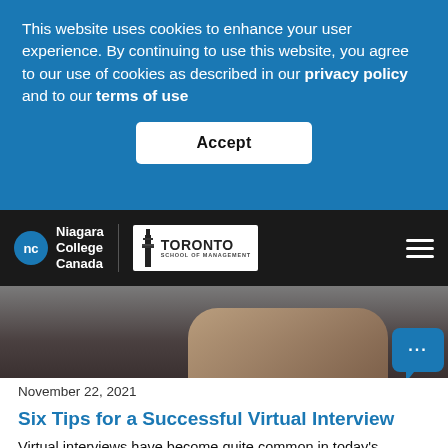This website uses cookies to enhance your user experience. By continuing to use this website, you agree to our use of cookies as described in our privacy policy and to our terms of use
Accept
[Figure (logo): Niagara College Canada logo with Toronto School of Management logo in dark navigation bar]
[Figure (photo): Person's hands typing on a laptop keyboard, dark ambiance, with a blue chat bubble icon in bottom right corner]
November 22, 2021
Six Tips for a Successful Virtual Interview
Virtual interviews have become quite common in today's business world. Here are six ways to improve your online interviewing skills and win that internship or new job opportunity!